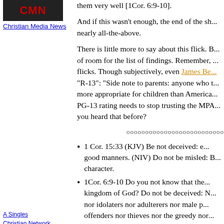[Figure (logo): Christian Media News logo with red text on dark background]
Christian Media News
them very well [1Cor. 6:9-10].
And if this wasn't enough, the end of the sh... nearly all-the-above.
There is little more to say about this flick. B... of room for the list of findings. Remember, ... flicks. Though subjectively, even James Be... "R-13": "Side note to parents: anyone who t... more appropriate for children than America... PG-13 rating needs to stop trusting the MPA... you heard that before?
[Figure (illustration): Black box with CLICK text in white]
A Singles Christian Network
oooooooooooooooooooooooooo
1 Cor. 15:33 (KJV) Be not deceived: e... good manners. (NIV) Do not be misled: B... character.
1Cor. 6:9-10 Do you not know that the... kingdom of God? Do not be deceived: N... nor idolaters nor adulterers nor male p... offenders nor thieves nor the greedy nor... drug abusers] nor slanderers nor swindlers... God.
[Figure (logo): Circular logo with cross and The text]